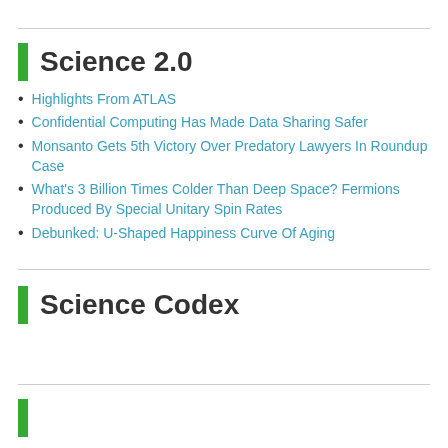Science 2.0
Highlights From ATLAS
Confidential Computing Has Made Data Sharing Safer
Monsanto Gets 5th Victory Over Predatory Lawyers In Roundup Case
What's 3 Billion Times Colder Than Deep Space? Fermions Produced By Special Unitary Spin Rates
Debunked: U-Shaped Happiness Curve Of Aging
Science Codex